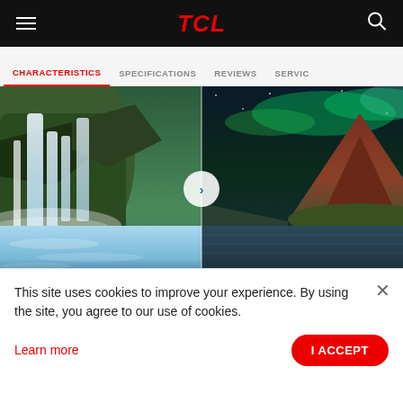TCL
CHARACTERISTICS | SPECIFICATIONS | REVIEWS | SERVIC
[Figure (photo): A split-screen comparison image showing a vivid waterfall scene on the left with bright blue-white water and green foliage, and a mountain lake scene with a red/brown mountain, green aurora sky, and dark water on the right. A circular slider button with a right-chevron sits at the center dividing line.]
This site uses cookies to improve your experience. By using the site, you agree to our use of cookies.
Learn more
I ACCEPT